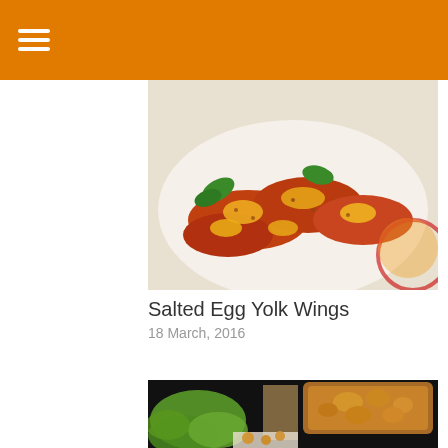Navigation menu header bar
[Figure (photo): Close-up photo of salted egg yolk chicken wings on a white plate, with green basil leaves and golden egg yolk sauce coating. A red-rimmed bowl is partially visible in the background.]
Salted Egg Yolk Wings
18 March, 2016
[Figure (photo): Food photo showing a glass baking dish with a cheesy baked casserole dish in the upper right, and a plate in the foreground with fresh butter lettuce leaves and baked cauliflower pieces with cheese sauce.]